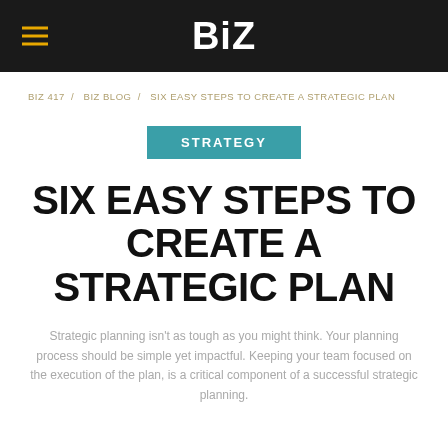BIZ
BIZ 417 / BIZ BLOG / SIX EASY STEPS TO CREATE A STRATEGIC PLAN
STRATEGY
SIX EASY STEPS TO CREATE A STRATEGIC PLAN
Strategic planning isn't as tough as you might think. Your planning process should be simple yet impactful. Keeping your team focused on the execution of the plan, is a critical component of a successful strategic planning.